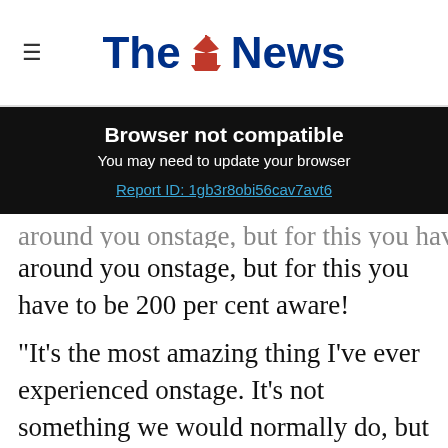The News
[Figure (screenshot): Browser not compatible banner with report ID link on dark background]
around you onstage, but for this you have to be 200 per cent aware!
"It's the most amazing thing I've ever experienced onstage. It's not something we would normally do, but it really makes sense with t...here just f...
[Figure (infographic): Topgolf Ashburn ad: OPEN 10AM-11PM, 20356 Commonwealth Cente...]